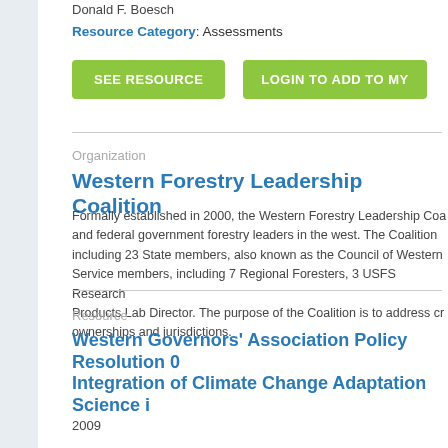Donald F. Boesch
Resource Category: Assessments
SEE RESOURCE
LOGIN TO ADD TO MY
Organization
Western Forestry Leadership Coalition
Formally established in 2000, the Western Forestry Leadership Coa... and federal government forestry leaders in the west. The Coalition including 23 State members, also known as the Council of Western Service members, including 7 Regional Foresters, 3 USFS Research Products Lab Director. The purpose of the Coalition is to address cr... ownerships and jurisdictions.
Resource
Western Governors' Association Policy Resolution 0 Integration of Climate Change Adaptation Science i
2009